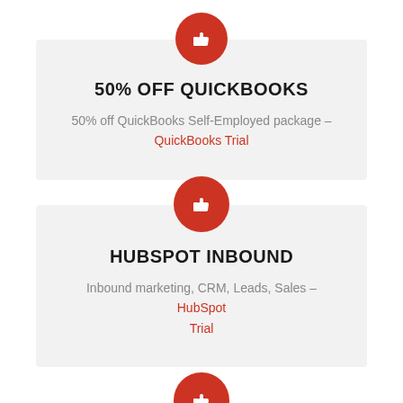[Figure (illustration): Red circle with white thumbs-up icon, positioned above the QuickBooks card]
50% OFF QUICKBOOKS
50% off QuickBooks Self-Employed package – QuickBooks Trial
[Figure (illustration): Red circle with white thumbs-up icon, positioned above the HubSpot card]
HUBSPOT INBOUND
Inbound marketing, CRM, Leads, Sales – HubSpot Trial
[Figure (illustration): Partial red circle with white thumbs-up icon, partially visible at bottom of page]